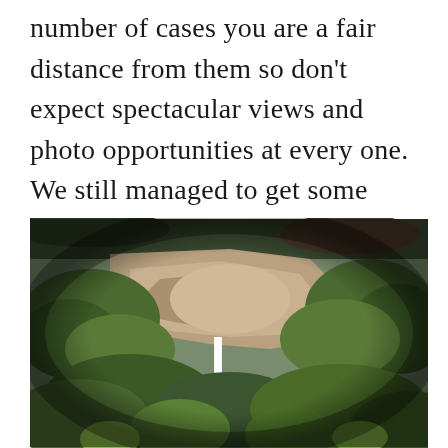number of cases you are a fair distance from them so don't expect spectacular views and photo opportunities at every one. We still managed to get some really beautiful shots at the two waterfalls we got close too.
[Figure (photo): Aerial or distant view of a waterfall cascading down rocky cliffs surrounded by lush green vegetation and trees.]